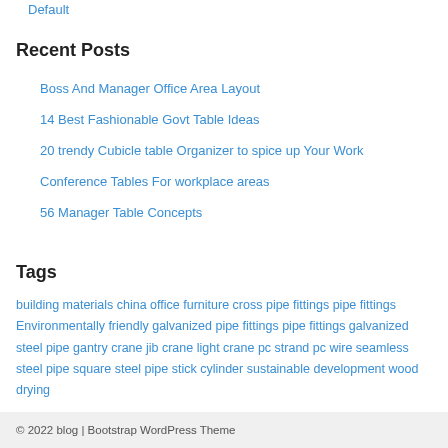Default
Recent Posts
Boss And Manager Office Area Layout
14 Best Fashionable Govt Table Ideas
20 trendy Cubicle table Organizer to spice up Your Work
Conference Tables For workplace areas
56 Manager Table Concepts
Tags
building materials china office furniture cross pipe fittings pipe fittings Environmentally friendly galvanized pipe fittings pipe fittings galvanized steel pipe gantry crane jib crane light crane pc strand pc wire seamless steel pipe square steel pipe stick cylinder sustainable development wood drying
© 2022 blog | Bootstrap WordPress Theme